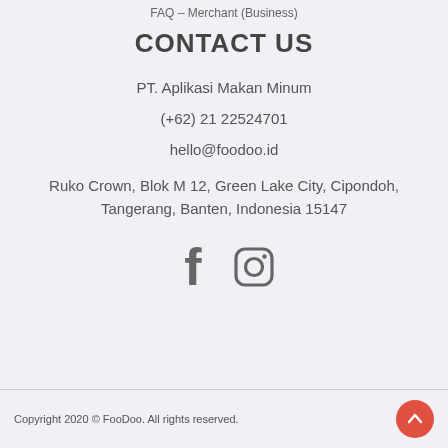FAQ – Merchant (Business)
CONTACT US
PT. Aplikasi Makan Minum
(+62) 21 22524701
hello@foodoo.id
Ruko Crown, Blok M 12, Green Lake City, Cipondoh, Tangerang, Banten, Indonesia 15147
[Figure (other): Facebook and Instagram social media icons]
Copyright 2020 © FooDoo. All rights reserved.